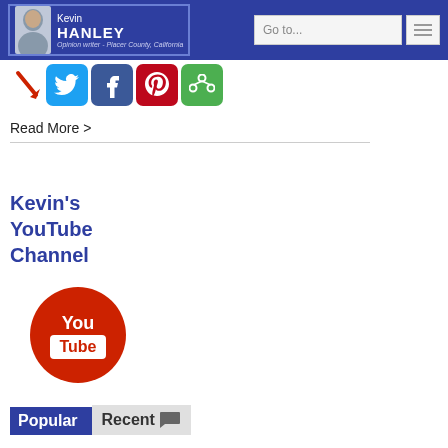Kevin HANLEY – Opinion writer – Placer County, California
[Figure (logo): Social sharing icons: arrow, Twitter, Facebook, Pinterest, and a green share icon]
Read More >
Kevin's YouTube Channel
[Figure (logo): YouTube logo – red circle with You Tube text]
Popular Recent